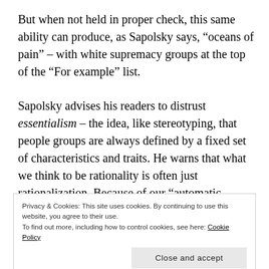But when not held in proper check, this same ability can produce, as Sapolsky says, “oceans of pain” – with white supremacy groups at the top of the “For example” list.
Sapolsky advises his readers to distrust essentialism – the idea, like stereotyping, that people groups are always defined by a fixed set of characteristics and traits. He warns that what we think to be rationality is often just rationalization. Because of our “automatic
Privacy & Cookies: This site uses cookies. By continuing to use this website, you agree to their use.
To find out more, including how to control cookies, see here: Cookie Policy
tribalism.